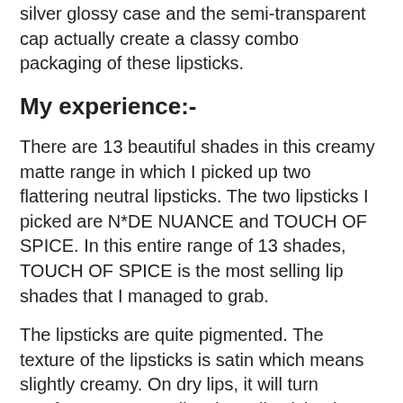silver glossy case and the semi-transparent cap actually create a classy combo packaging of these lipsticks.
My experience:-
There are 13 beautiful shades in this creamy matte range in which I picked up two flattering neutral lipsticks. The two lipsticks I picked are N*DE NUANCE and TOUCH OF SPICE. In this entire range of 13 shades, TOUCH OF SPICE is the most selling lip shades that I managed to grab.
The lipsticks are quite pigmented. The texture of the lipsticks is satin which means slightly creamy. On dry lips, it will turn comfort matte actually. These lipsticks do transfer a bit leaving light marks on cups and glasses. They don't tug or pull my lips during application. It does tend to bleeds a bit from the